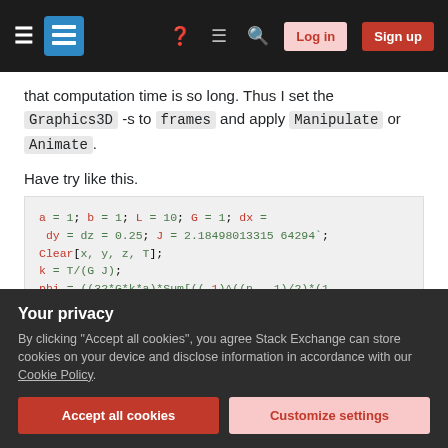Navigation bar with Stack Exchange logo, hamburger menu, help, chat, search icons, Log in and Sign up buttons
that computation time is so long. Thus I set the Graphics3D -s to frames and apply Manipulate or Animate.
Have try like this.
[Figure (screenshot): Code block showing Mathematica code: a = 1; b = 1; L = 10; G = 1; dx = dy = dz = 0.25; J = 2.18498013315 64294`; Clear[x, y, z, T]; k = T/(G J); phi = ((32*G*k*a)*Sum[((- 1)^((n - 1)/2)*(1 Cosh[(n*Pi*b)/(2*a)]) pA3 ... {n, 1, 10, 2}])/(Pi^3;]
Your privacy
By clicking "Accept all cookies", you agree Stack Exchange can store cookies on your device and disclose information in accordance with our Cookie Policy.
Accept all cookies   Customize settings